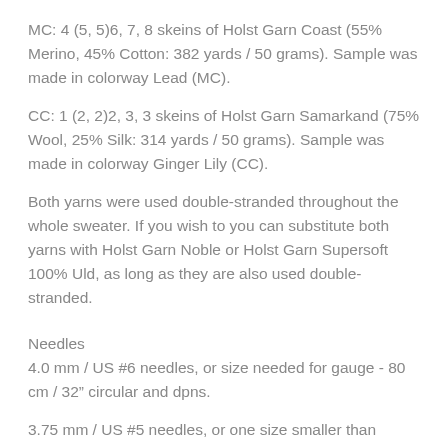MC: 4 (5, 5)6, 7, 8 skeins of Holst Garn Coast (55% Merino, 45% Cotton: 382 yards / 50 grams). Sample was made in colorway Lead (MC).
CC: 1 (2, 2)2, 3, 3 skeins of Holst Garn Samarkand (75% Wool, 25% Silk: 314 yards / 50 grams). Sample was made in colorway Ginger Lily (CC).
Both yarns were used double-stranded throughout the whole sweater. If you wish to you can substitute both yarns with Holst Garn Noble or Holst Garn Supersoft 100% Uld, as long as they are also used double-stranded.
Needles
4.0 mm / US #6 needles, or size needed for gauge - 80 cm / 32” circular and dpns.
3.75 mm / US #5 needles, or one size smaller than gauge needles - 60 cm / 24” circular and dpns.